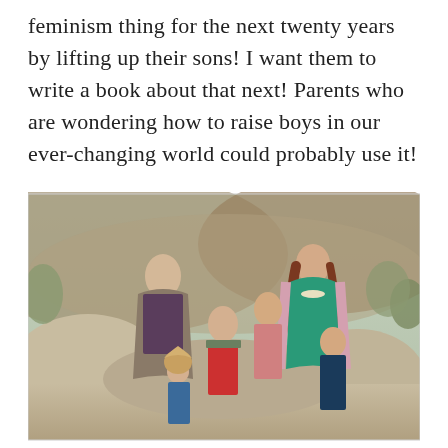feminism thing for the next twenty years by lifting up their sons! I want them to write a book about that next! Parents who are wondering how to raise boys in our ever-changing world could probably use it!
[Figure (photo): A family of six posing outdoors on rocky terrain with hills and shrubs in the background. A man and woman stand at the back, with four boys of varying ages in front of them.]